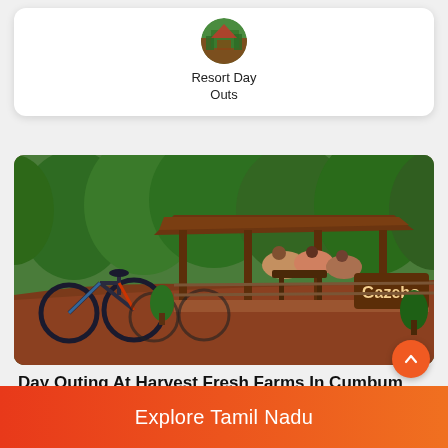[Figure (logo): Round icon thumbnail showing a resort/farm outdoor scene]
Resort Day Outs
[Figure (photo): Outdoor gazebo area at Harvest Fresh Farms with bicycles parked on the left, a red brick path leading to a wooden gazebo where people are seated, surrounded by lush green trees. A wooden sign reads 'Gazebo'.]
Day Outing At Harvest Fresh Farms In Cumbum Valley
2H   Theni
Explore Tamil Nadu